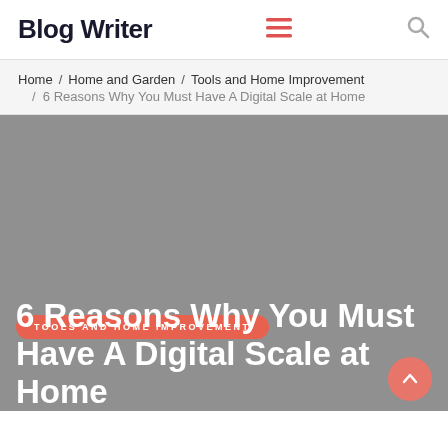Blog Writer
Home / Home and Garden / Tools and Home Improvement / 6 Reasons Why You Must Have A Digital Scale at Home
[Figure (photo): Grey/dark gray hero image background]
TOOLS AND HOME IMPROVEMENT
6 Reasons Why You Must Have A Digital Scale at Home